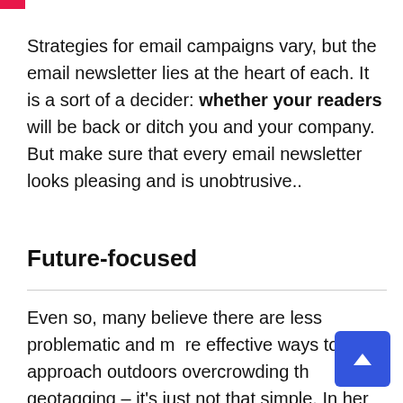Strategies for email campaigns vary, but the email newsletter lies at the heart of each. It is a sort of a decider: whether your readers will be back or ditch you and your company. But make sure that every email newsletter looks pleasing and is unobtrusive..
Future-focused
Even so, many believe there are less problematic and more effective ways to approach outdoors overcrowding than avoid geotagging – it's just not that simple. In her blog post, Williams recommends structural reforms for the USA,